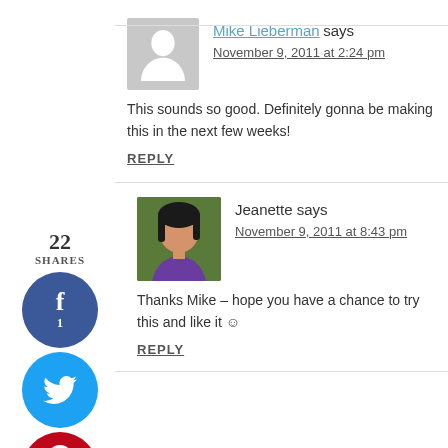[Figure (infographic): Social share sidebar with count (22 SHARES), Facebook button (1), Twitter button, Pinterest button (21), and Yummly button]
Mike Lieberman says
November 9, 2011 at 2:24 pm
This sounds so good. Definitely gonna be making this in the next few weeks!
REPLY
[Figure (photo): Profile photo of Jeanette, Asian woman with dark hair]
Jeanette says
November 9, 2011 at 8:43 pm
Thanks Mike – hope you have a chance to try this and like it :)
REPLY